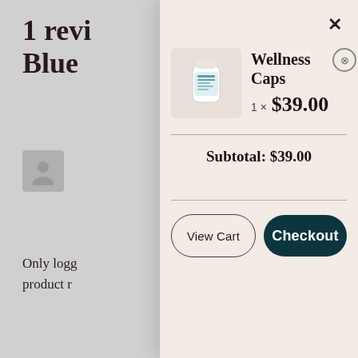1 revi
Blue
[Figure (screenshot): Shopping cart modal overlay on an e-commerce product page showing Wellness Caps product]
Wellness Caps
1 × $39.00
Subtotal: $39.00
View Cart
Checkout
Only logg
product r